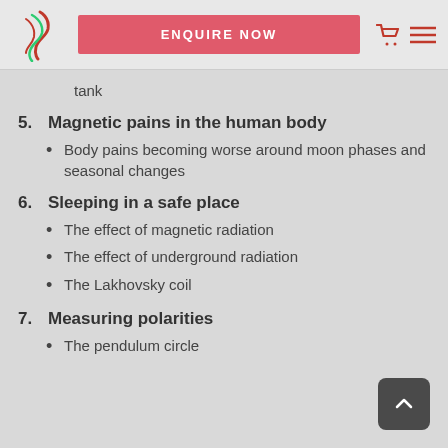ENQUIRE NOW
tank
5. Magnetic pains in the human body
Body pains becoming worse around moon phases and seasonal changes
6. Sleeping in a safe place
The effect of magnetic radiation
The effect of underground radiation
The Lakhovsky coil
7. Measuring polarities
The pendulum circle